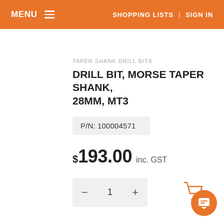MENU  SHOPPING LISTS | SIGN IN
TAPER SHANK DRILL BITS
DRILL BIT, MORSE TAPER SHANK, 28MM, MT3
P/N: 100004571
$193.00 inc. GST
− 1 +